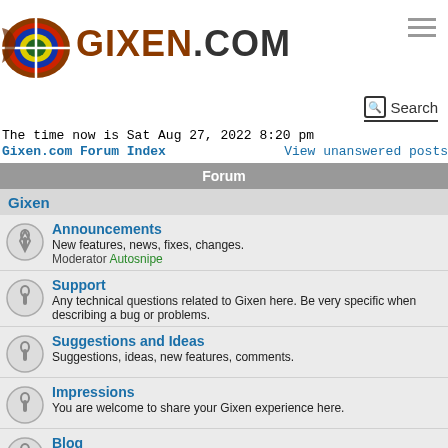[Figure (logo): Gixen.com logo with archery target circle and site name text GIXEN.COM]
[Figure (other): Hamburger menu icon (three horizontal lines)]
Search
The time now is Sat Aug 27, 2022 8:20 pm
Gixen.com Forum Index
View unanswered posts
Forum
Gixen
Announcements
New features, news, fixes, changes.
Moderator Autosnipe
Support
Any technical questions related to Gixen here. Be very specific when describing a bug or problems.
Suggestions and Ideas
Suggestions, ideas, new features, comments.
Impressions
You are welcome to share your Gixen experience here.
Blog
Mario's Gixen Blog for Gixen enthusiasts. Read & post your comments.